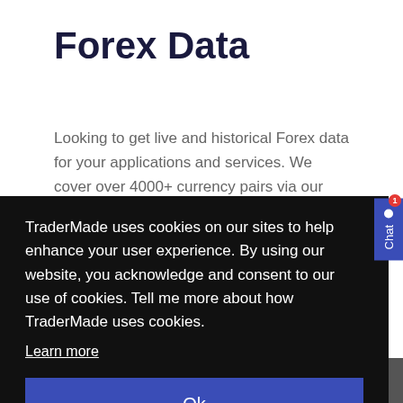Forex Data
Looking to get live and historical Forex data for your applications and services. We cover over 4000+ currency pairs via our REST and
TraderMade uses cookies on our sites to help enhance your user experience. By using our website, you acknowledge and consent to our use of cookies. Tell me more about how TraderMade uses cookies.
Learn more
Ok
Products